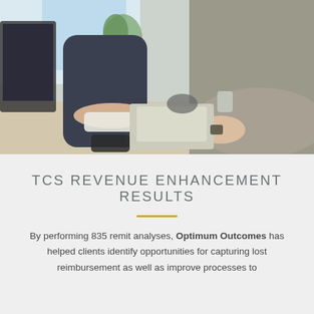[Figure (photo): Office photo showing two people sitting at a desk working on computers, viewed from the side. One person in dark top, one in grey knit sweater. Keyboard, headphones, and phone visible on desk.]
TCS REVENUE ENHANCEMENT RESULTS
By performing 835 remit analyses, Optimum Outcomes has helped clients identify opportunities for capturing lost reimbursement as well as improve processes to